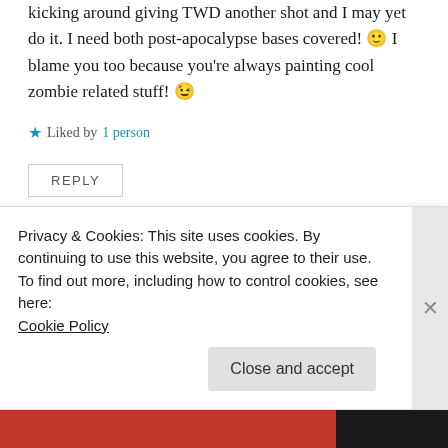kicking around giving TWD another shot and I may yet do it. I need both post-apocalypse bases covered! 🙂 I blame you too because you're always painting cool zombie related stuff! 😉
★ Liked by 1 person
REPLY
Azazel
March 29, 2021 at 10:19 am
Privacy & Cookies: This site uses cookies. By continuing to use this website, you agree to their use.
To find out more, including how to control cookies, see here:
Cookie Policy
Close and accept